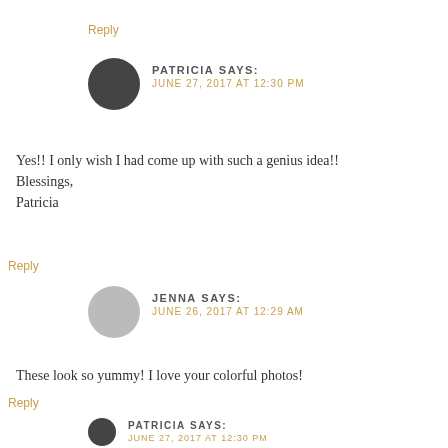Reply
PATRICIA SAYS: JUNE 27, 2017 AT 12:30 PM
Yes!! I only wish I had come up with such a genius idea!! Blessings, Patricia
Reply
JENNA SAYS: JUNE 26, 2017 AT 12:29 AM
These look so yummy! I love your colorful photos!
Reply
PATRICIA SAYS: JUNE 27, 2017 AT 12:30 PM